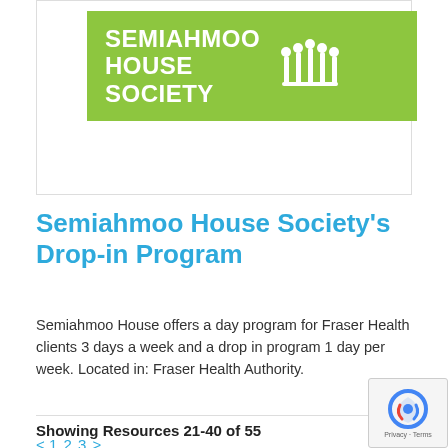[Figure (logo): Semiahmoo House Society logo — green rectangle background with white bold text reading SEMIAHMOO HOUSE SOCIETY and a white icon of figures with raised arms on the right]
Semiahmoo House Society's Drop-in Program
Semiahmoo House offers a day program for Fraser Health clients 3 days a week and a drop in program 1 day per week. Located in: Fraser Health Authority.
Showing Resources 21-40 of 55
< 1 2 3 >